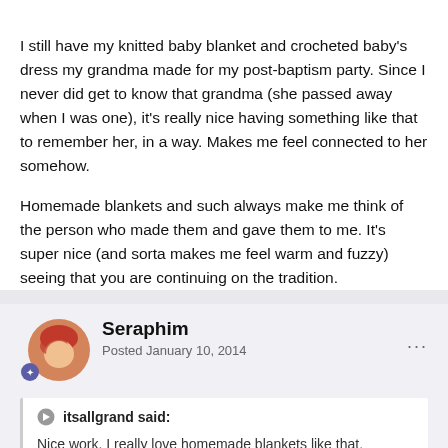I still have my knitted baby blanket and crocheted baby's dress my grandma made for my post-baptism party. Since I never did get to know that grandma (she passed away when I was one), it's really nice having something like that to remember her, in a way. Makes me feel connected to her somehow.
Homemade blankets and such always make me think of the person who made them and gave them to me. It's super nice (and sorta makes me feel warm and fuzzy) seeing that you are continuing on the tradition.
Seraphim
Posted January 10, 2014
itsallgrand said:

Nice work. I really love homemade blankets like that.